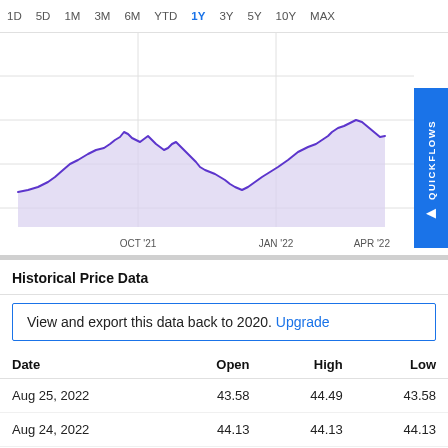[Figure (area-chart): Area chart showing stock price from approximately Aug 2021 to Apr 2022, with x-axis labels OCT '21, JAN '22, APR '22. The line shows price movement with a peak around Oct-Nov 2021, a trough around Dec 2021-Jan 2022, and a recovery/rise toward Apr 2022. Filled with light purple area under the line.]
Historical Price Data
View and export this data back to 2020. Upgrade
| Date | Open | High | Low |
| --- | --- | --- | --- |
| Aug 25, 2022 | 43.58 | 44.49 | 43.58 |
| Aug 24, 2022 | 44.13 | 44.13 | 44.13 |